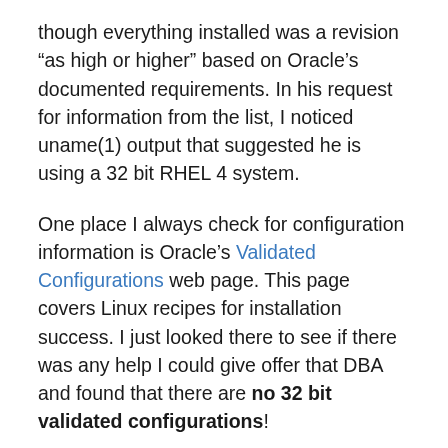though everything installed was a revision “as high or higher” based on Oracle’s documented requirements. In his request for information from the list, I noticed uname(1) output that suggested he is using a 32 bit RHEL 4 system.
One place I always check for configuration information is Oracle’s Validated Configurations web page. This page covers Linux recipes for installation success. I just looked there to see if there was any help I could give offer that DBA and found that there are no 32 bit validated configurations!
I know there is a lot of 32 bit x86 hardware out there, but I doubt it is even possible to buy one today. Except for training or testing purposes I just can’t muster a reason to even use 32 bit Linux servers for the database tier at this point and to be honest, running a 32 bit port of Oracle on